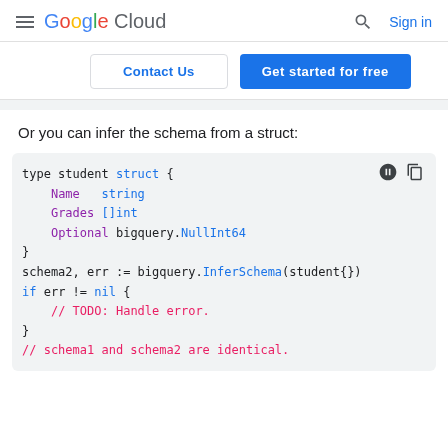Google Cloud — Sign in
Contact Us | Get started for free
Or you can infer the schema from a struct:
[Figure (screenshot): Code block showing Go struct definition with type student struct containing Name string, Grades []int, Optional bigquery.NullInt64 fields, followed by schema2, err := bigquery.InferSchema(student{}), if err != nil block with TODO comment, and a comment saying schema1 and schema2 are identical.]